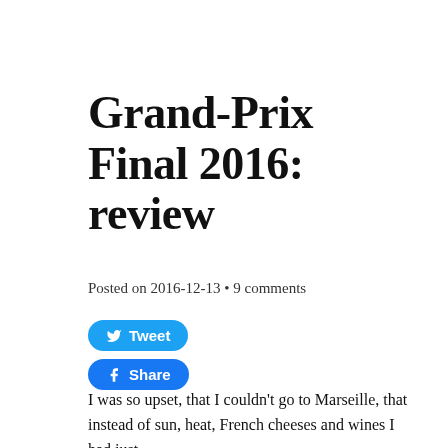Grand-Prix Final 2016: review
Posted on 2016-12-13 • 9 comments
[Figure (other): Tweet button (Twitter social share) and Share button (Facebook social share)]
I was so upset, that I couldn't go to Marseille, that instead of sun, heat, French cheeses and wines I had just